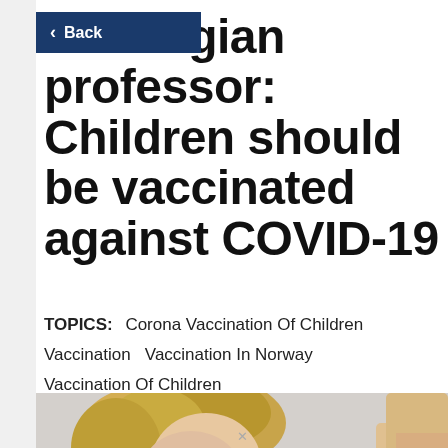< Back
Norwegian professor: Children should be vaccinated against COVID-19
TOPICS: Corona Vaccination Of Children  Vaccination  Vaccination In Norway  Vaccination Of Children
[Figure (photo): Close-up photo of a young blonde child, partially visible, medical/vaccination context]